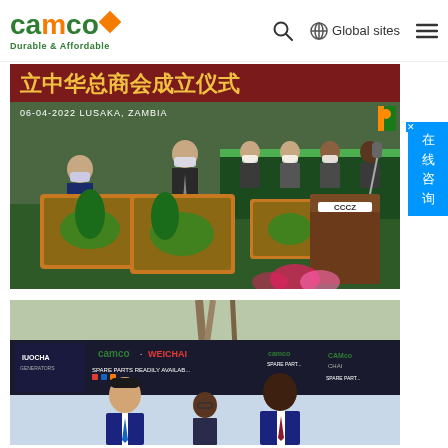CAMCO Durable & Affordable — Global sites navigation header
[Figure (photo): Ceremony photo at 06-04-2022 Lusaka, Zambia. Two men in suits wearing masks hold a large framed painting with a tree scene. A podium marked CCCZ is visible. Other attendees are seated at a draped table with flowers in the background. Chinese text banner reads chamber of commerce establishment ceremony.]
[Figure (photo): Two men standing in front of CAMCO WEICHAI branded banners and spare parts ready availability signage. One man is Asian in a suit, the other is African in a suit with a burgundy tie. A woman is partially visible in the center.]